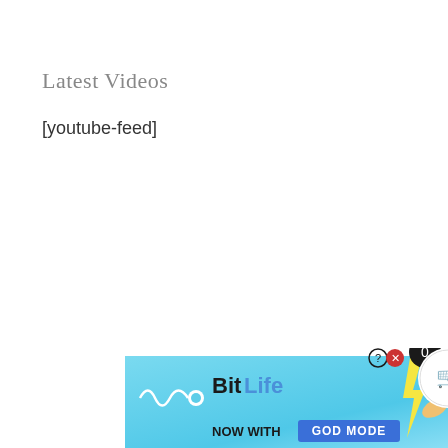Latest Videos
[youtube-feed]
[Figure (screenshot): BitLife advertisement banner: 'NOW WITH GOD MODE' on a light blue background with hand/pointing graphic. Includes a close button, notification badge showing 0, and white cart button in bottom-right corner.]